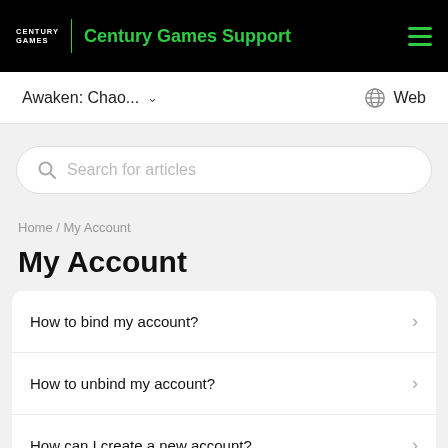Century Games | Century Games Support
Awaken: Chao... Web
[Figure (screenshot): Search bar with placeholder text 'Search for articles']
Home / My Account
My Account
How to bind my account?
How to unbind my account?
How can I create a new account?